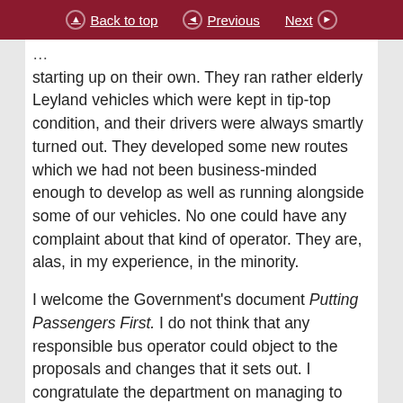Back to top | Previous | Next
starting up on their own. They ran rather elderly Leyland vehicles which were kept in tip-top condition, and their drivers were always smartly turned out. They developed some new routes which we had not been business-minded enough to develop as well as running alongside some of our vehicles. No one could have any complaint about that kind of operator. They are, alas, in my experience, in the minority.

I welcome the Government’s document Putting Passengers First. I do not think that any responsible bus operator could object to the proposals and changes that it sets out. I congratulate the department on managing to resist the hysterical—and I choose my words carefully—campaign waged